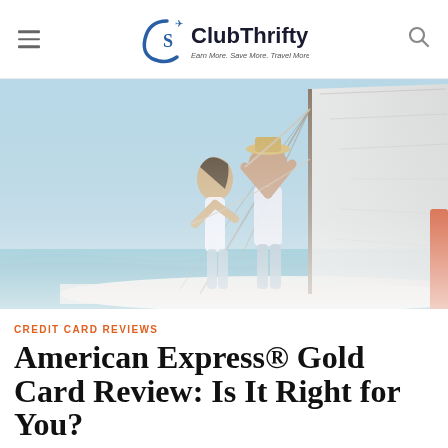ClubThrifty — Earn More. Save More. Travel More.
[Figure (photo): Couple on a sailboat deck at sea, man and woman adjusting sails, bright sunny day with blue ocean and sky in background]
CREDIT CARD REVIEWS
American Express® Gold Card Review: Is It Right for You?